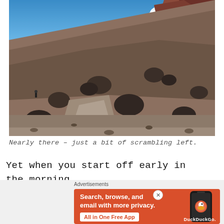[Figure (photo): Hiker on a rocky mountain trail ascending a steep volcanic slope with large dark boulders, reddish-brown rocky peaks in background, blue sky with white clouds]
Nearly there – just a bit of scrambling left.
Yet when you start off early in the morning you'll be able to beat the heat and the crowd
[Figure (screenshot): DuckDuckGo advertisement banner with orange background. Text: 'Search, browse, and email with more privacy. All in One Free App'. DuckDuckGo logo and phone mockup on right side.]